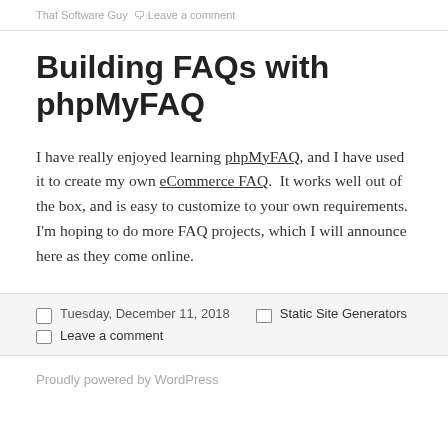That Software Guy  ← Leave a comment
Building FAQs with phpMyFAQ
I have really enjoyed learning phpMyFAQ, and I have used it to create my own eCommerce FAQ.  It works well out of the box, and is easy to customize to your own requirements.  I'm hoping to do more FAQ projects, which I will announce here as they come online.
Tuesday, December 11, 2018   Static Site Generators
Leave a comment
Proudly powered by WordPress